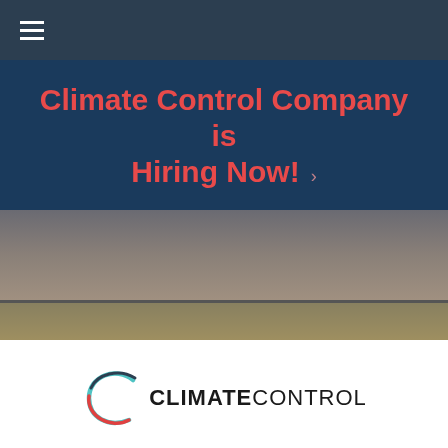Navigation bar with hamburger menu
Climate Control Company is Hiring Now!
[Figure (photo): Close-up photograph of HVAC equipment or outdoor unit, showing mechanical components and stone/gravel surface below]
[Figure (logo): Climate Control company logo with stylized C swoosh icon in teal, red, and dark colors next to bold text CLIMATECONTROL]
MAKE AN APPOINTMENT